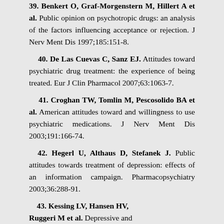39. Benkert O, Graf-Morgenstern M, Hillert A et al. Public opinion on psychotropic drugs: an analysis of the factors influencing acceptance or rejection. J Nerv Ment Dis 1997;185:151-8.
40. De Las Cuevas C, Sanz EJ. Attitudes toward psychiatric drug treatment: the experience of being treated. Eur J Clin Pharmacol 2007;63:1063-7.
41. Croghan TW, Tomlin M, Pescosolido BA et al. American attitudes toward and willingness to use psychiatric medications. J Nerv Ment Dis 2003;191:166-74.
42. Hegerl U, Althaus D, Stefanek J. Public attitudes towards treatment of depression: effects of an information campaign. Pharmacopsychiatry 2003;36:288-91.
43. Kessing LV, Hansen HV, Ruggeri M et al. Depressive and...